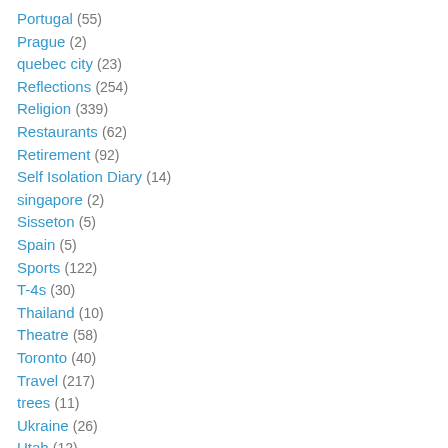Portugal (55)
Prague (2)
quebec city (23)
Reflections (254)
Religion (339)
Restaurants (62)
Retirement (92)
Self Isolation Diary (14)
singapore (2)
Sisseton (5)
Spain (5)
Sports (122)
T-4s (30)
Thailand (10)
Theatre (58)
Toronto (40)
Travel (217)
trees (11)
Ukraine (26)
Utah (12)